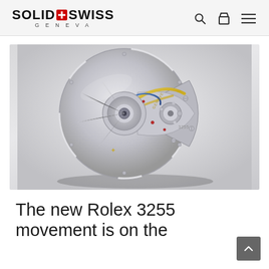SOLID SWISS GENEVA
[Figure (photo): Close-up photograph of a Rolex 3255 mechanical watch movement, showing the intricate rotor, gears, jewels, and engravings on a light grey background.]
The new Rolex 3255 movement is on the